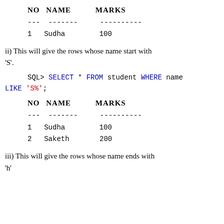| NO | NAME | MARKS |
| --- | --- | --- |
| --- | ------- | ---------- |
| 1 | Sudha | 100 |
ii) This will give the rows whose name start with 'S'.
SQL> SELECT * FROM student WHERE name LIKE 'S%';
| NO | NAME | MARKS |
| --- | --- | --- |
| --- | ------- | ---------- |
| 1 | Sudha | 100 |
| 2 | Saketh | 200 |
iii) This will give the rows whose name ends with 'h'